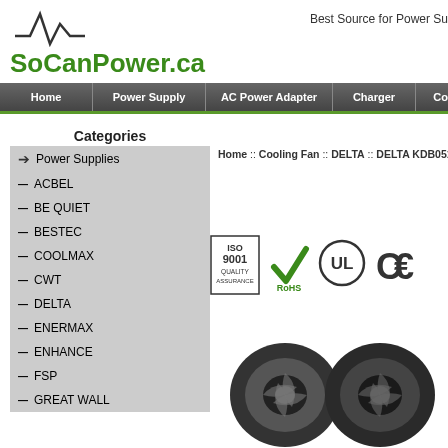[Figure (logo): SoCanPower.ca logo with waveform graphic and green text]
Best Source for Power Su
Home | Power Supply | AC Power Adapter | Charger | Cooling Fan
Categories
Home :: Cooling Fan :: DELTA :: DELTA KDB05105H
Power Supplies
ACBEL
BE QUIET
BESTEC
COOLMAX
CWT
DELTA
ENERMAX
ENHANCE
FSP
GREAT WALL
[Figure (logo): ISO 9001 Quality Assurance, RoHS checkmark, UL, CE certification logos]
[Figure (photo): Two cooling fan units (DELTA KDB05105H) shown side by side]